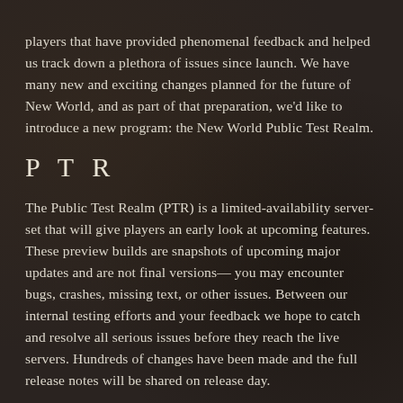players that have provided phenomenal feedback and helped us track down a plethora of issues since launch. We have many new and exciting changes planned for the future of New World, and as part of that preparation, we'd like to introduce a new program: the New World Public Test Realm.
PTR
The Public Test Realm (PTR) is a limited-availability server-set that will give players an early look at upcoming features. These preview builds are snapshots of upcoming major updates and are not final versions— you may encounter bugs, crashes, missing text, or other issues. Between our internal testing efforts and your feedback we hope to catch and resolve all serious issues before they reach the live servers. Hundreds of changes have been made and the full release notes will be shared on release day.